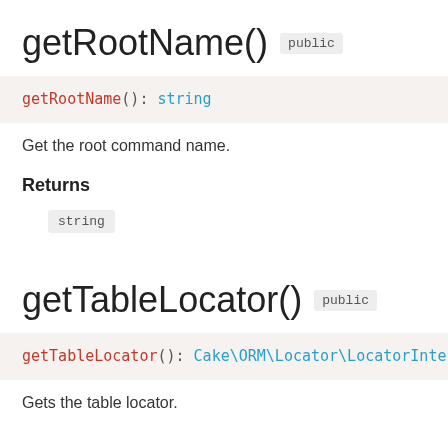getRootName() public
Get the root command name.
Returns
string
getTableLocator() public
Gets the table locator.